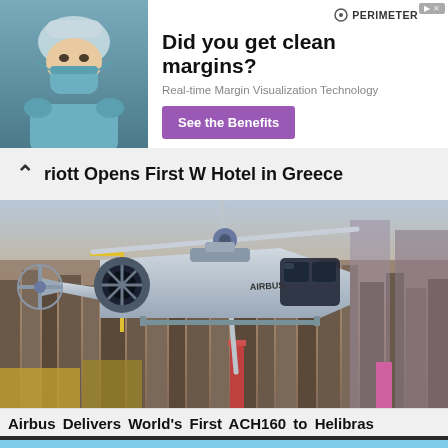[Figure (infographic): Advertisement banner: Doctor/surgeon in scrubs and mask on left. Text: 'Did you get clean margins? Real-time Margin Visualization Technology'. Purple button: 'See the Benefits'. Perimeter logo top right. Close button top right corner.]
...riott Opens First W Hotel in Greece
[Figure (photo): Airbus ACH160 helicopter in flight over a city with dense urban buildings visible below. The helicopter is silver/grey in color.]
Airbus Delivers World's First ACH160 to Helibras
[Figure (photo): Bottom strip showing partial view of next article image, light blue sky.]